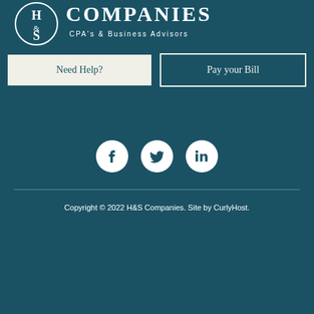[Figure (logo): H&S Companies CPA's & Business Advisors logo — circular H&S emblem on left, company name and subtitle on right, white on dark teal background]
Need Help?
Pay your Bill
[Figure (illustration): Three social media icons (Facebook, Twitter, LinkedIn) as white circles on teal background]
Copyright © 2022 H&S Companies. Site by CurlyHost.